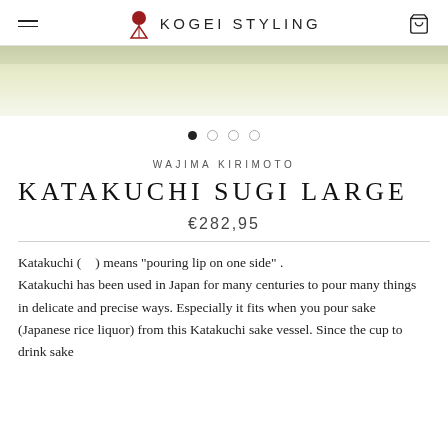Kogei Styling
[Figure (photo): Product image area showing a light olive/cream colored background, partial view of a product photo.]
WAJIMA KIRIMOTO
KATAKUCHI SUGI LARGE
€282,95
Katakuchi (　) means "pouring lip on one side" . Katakuchi has been used in Japan for many centuries to pour many things in delicate and precise ways. Especially it fits when you pour sake (Japanese rice liquor) from this Katakuchi sake vessel. Since the cup to drink sake